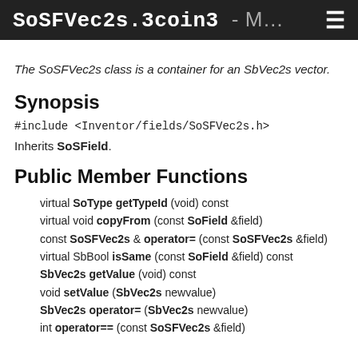SoSFVec2s.3coin3 - M…
The SoSFVec2s class is a container for an SbVec2s vector.
Synopsis
#include <Inventor/fields/SoSFVec2s.h>
Inherits SoSField.
Public Member Functions
virtual SoType getTypeId (void) const
virtual void copyFrom (const SoField &field)
const SoSFVec2s & operator= (const SoSFVec2s &field)
virtual SbBool isSame (const SoField &field) const
SbVec2s getValue (void) const
void setValue (SbVec2s newvalue)
SbVec2s operator= (SbVec2s newvalue)
int operator== (const SoSFVec2s &field)